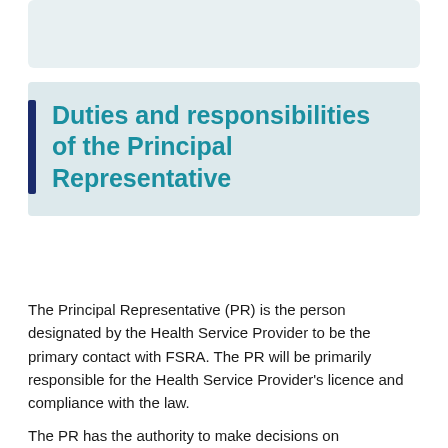[Figure (other): Light blue-grey decorative box at the top of the page]
Duties and responsibilities of the Principal Representative
The Principal Representative (PR) is the person designated by the Health Service Provider to be the primary contact with FSRA. The PR will be primarily responsible for the Health Service Provider's licence and compliance with the law.
The PR has the authority to make decisions on